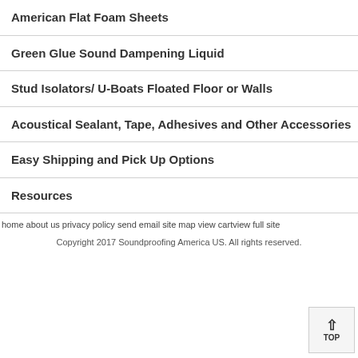American Flat Foam Sheets
Green Glue Sound Dampening Liquid
Stud Isolators/ U-Boats Floated Floor or Walls
Acoustical Sealant, Tape, Adhesives and Other Accessories
Easy Shipping and Pick Up Options
Resources
home about us privacy policy send email site map view cart view full site
Copyright 2017 Soundproofing America US. All rights reserved.